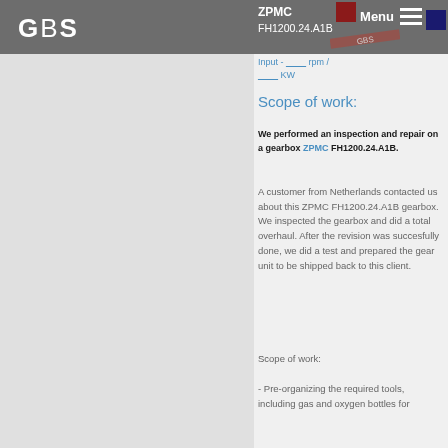GBS | ZPMC FH1200.24.A1B | Menu
Input - ___ rpm / ___ KW
Scope of work:
We performed an inspection and repair on a gearbox ZPMC FH1200.24.A1B.
A customer from Netherlands contacted us about this ZPMC FH1200.24.A1B gearbox. We inspected the gearbox and did a total overhaul. After the revision was succesfully done, we did a test and prepared the gear unit to be shipped back to this client.
Scope of work:
- Pre-organizing the required tools, including gas and oxygen bottles for